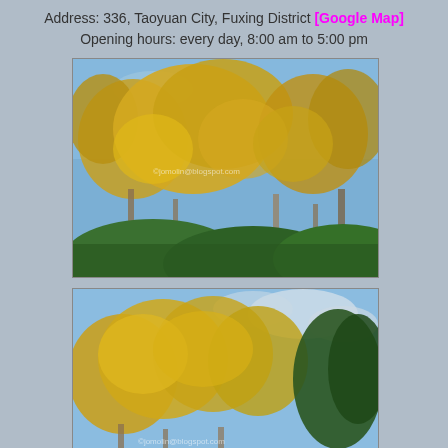Address: 336, Taoyuan City, Fuxing District [Google Map]
Opening hours: every day, 8:00 am to 5:00 pm
[Figure (photo): Outdoor photo of trees with golden-yellow foliage against a blue sky with green undergrowth below. Watermark: ©jomolin@blogspot.com]
[Figure (photo): Outdoor photo of trees with golden-yellow foliage against a partly cloudy sky with green trees on the right. Watermark: ©jomolin@blogspot.com]